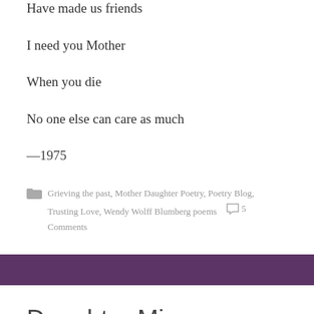Have made us friends
I need you Mother
When you die
No one else can care as much
—1975
Grieving the past, Mother Daughter Poetry, Poetry Blog, Trusting Love, Wendy Wolff Blumberg poems  5 Comments
Daughter Mine